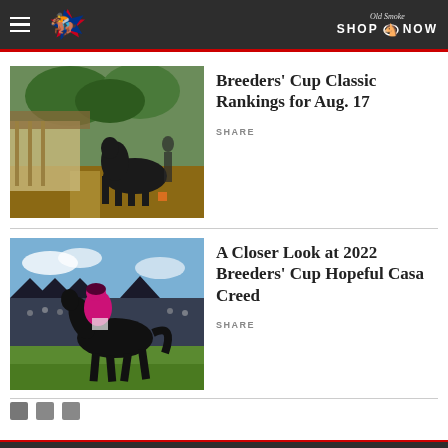Breeders' Cup — Navigation header with logo and Shop Now button
[Figure (photo): Horses walking in paddock area with trees and stable buildings in background]
Breeders' Cup Classic Rankings for Aug. 17
SHARE
[Figure (photo): Jockey in pink/magenta silks riding dark horse at full gallop in front of grandstand crowd]
A Closer Look at 2022 Breeders' Cup Hopeful Casa Creed
SHARE
Pagination dots (page 1 of 3)